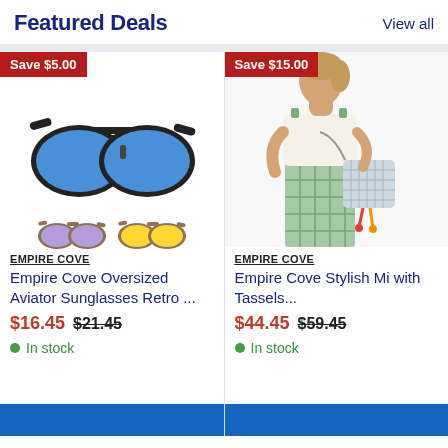Featured Deals
View all
[Figure (photo): Empire Cove Oversized Aviator Sunglasses with blue lenses (main), purple-lens and yellow-lens variants shown below]
Save $5.00
EMPIRE COVE
Empire Cove Oversized Aviator Sunglasses Retro ...
$16.45  $21.45
In stock
[Figure (photo): Woman model wearing white lace top and green plaid pants, carrying a floral crossbody bag with tassels]
Save $15.00
EMPIRE COVE
Empire Cove Stylish Mi with Tassels...
$44.45  $59.45
In stock